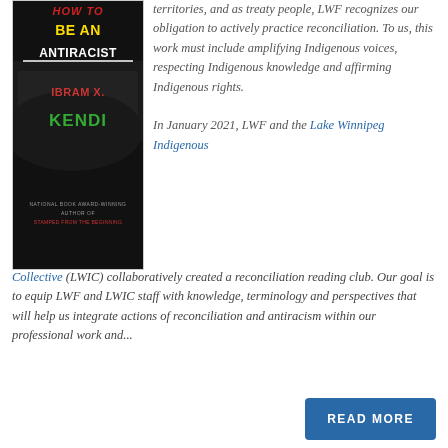[Figure (photo): Book cover of 'How to Be an Antiracist' by Ibram X. Kendi — black background with colorful text, author name, 'National Book Award-Winning Author of Stamped from the Beginning']
territories, and as treaty people, LWF recognizes our obligation to actively practice reconciliation. To us, this work must include amplifying Indigenous voices, respecting Indigenous knowledge and affirming Indigenous rights.

In January 2021, LWF and the Lake Winnipeg Indigenous Collective (LWIC) collaboratively created a reconciliation reading club. Our goal is to equip LWF and LWIC staff with knowledge, terminology and perspectives that will help us integrate actions of reconciliation and antiracism within our professional work and...
READ MORE